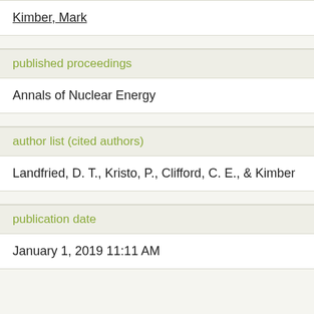Kimber, Mark
published proceedings
Annals of Nuclear Energy
author list (cited authors)
Landfried, D. T., Kristo, P., Clifford, C. E., & Kimber
publication date
January 1, 2019 11:11 AM